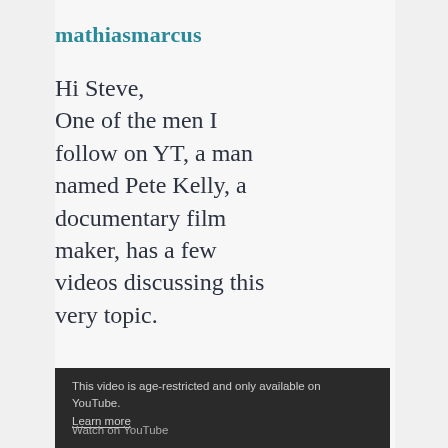mathiasmarcus
Hi Steve,
One of the men I follow on YT, a man named Pete Kelly, a documentary film maker, has a few videos discussing this very topic.
[Figure (screenshot): Dark-background YouTube video embed placeholder showing 'This video is age-restricted and only available on YouTube. Learn more' and 'Watch on YouTube']